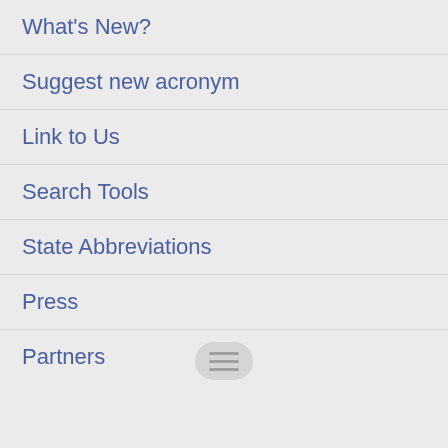What's New?
Suggest new acronym
Link to Us
Search Tools
State Abbreviations
Press
Partners
Contributors
Return Links
Statistics